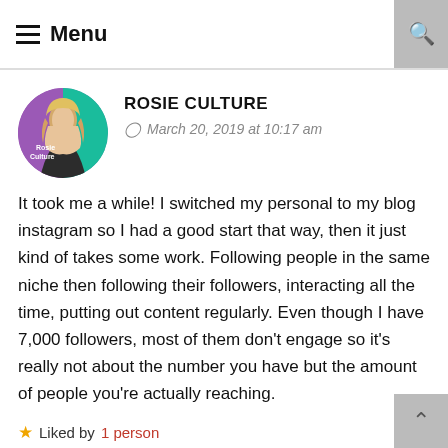☰ Menu
ROSIE CULTURE
March 20, 2019 at 10:17 am
It took me a while! I switched my personal to my blog instagram so I had a good start that way, then it just kind of takes some work. Following people in the same niche then following their followers, interacting all the time, putting out content regularly. Even though I have 7,000 followers, most of them don't engage so it's really not about the number you have but the amount of people you're actually reaching.
★ Liked by 1 person